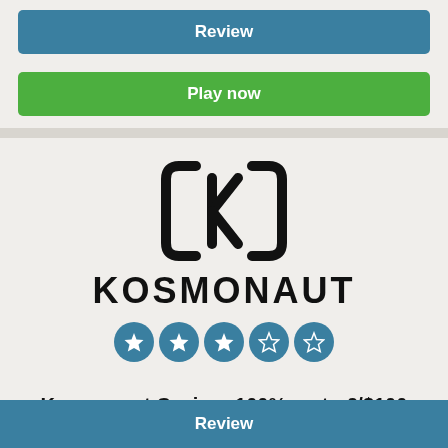Review
Play now
[Figure (logo): Kosmonaut Casino logo: stylized CK monogram in brackets above the word KOSMONAUT in bold block letters, followed by a 3.5 star rating displayed as 5 circular blue star icons]
Kosmonaut Casino: 100% up to €/$100 (or 0.25 BTC) + 25...
Register at Kosmonaut Casino and get Kosmonaut Casino: 100% up to €/$100 (or 0.25 BTC) + 25...
Review